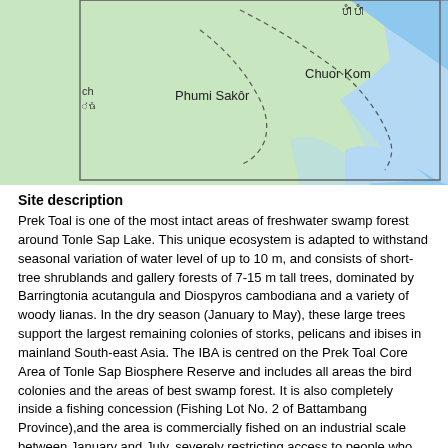[Figure (map): Partial map showing geographic area including labels 'Phumi Sakôr', 'Chuor Kom', with Khmer script text, dashed boundary lines, green land areas and blue water to the right. Map is cropped at top and bottom.]
Site description
Prek Toal is one of the most intact areas of freshwater swamp forest around Tonle Sap Lake. This unique ecosystem is adapted to withstand seasonal variation of water level of up to 10 m, and consists of short-tree shrublands and gallery forests of 7-15 m tall trees, dominated by Barringtonia acutangula and Diospyros cambodiana and a variety of woody lianas. In the dry season (January to May), these large trees support the largest remaining colonies of storks, pelicans and ibises in mainland South-east Asia. The IBA is centred on the Prek Toal Core Area of Tonle Sap Biosphere Reserve and includes all areas the bird colonies and the areas of best swamp forest. It is also completely inside a fishing concession (Fishing Lot No. 2 of Battambang Province),and the area is commercially fished on an industrial scale between January and July, severely restricting access to people who are not employees of the concessionaire. The waterbird colonies of Prek Toal contain some of the world's largest numbers of Spot-billed Pelican Pelecanus philippensis and Greater Adjutant Leptoptilos dubius, and Prek Toal is perhaps the only site in world where Milky Stork Mycteria cinerea breeds in freshwater. In addition, the IBA supports significant wet